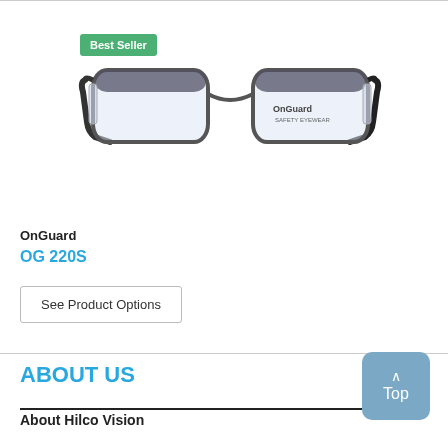[Figure (photo): Safety glasses product photo - OnGuard OG 220S with dark gray/black frame on top and clear frame on bottom, sports style safety eyewear]
OnGuard
OG 220S
See Product Options
ABOUT US
About Hilco Vision